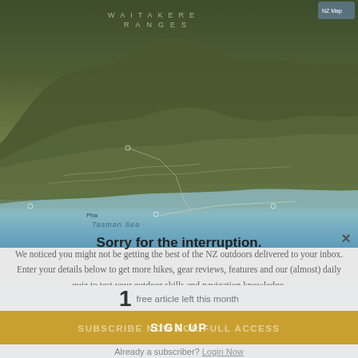[Figure (map): Topographic map showing Waitakere Ranges area in New Zealand with terrain, coastline, and Tasman Sea label]
Sorry for the interruption.
We noticed you might not be getting the best of the NZ outdoors delivered to your inbox. Enter your details below to get more hikes, gear reviews, features and our (almost) daily quiz to test your outdoor skills and navigation knowledge.
Waitakere Range
Email
Name
1 free article left this month
SUBSCRIBE NOW FOR FULL ACCESS
SIGN UP
Already a subscriber? Login Now